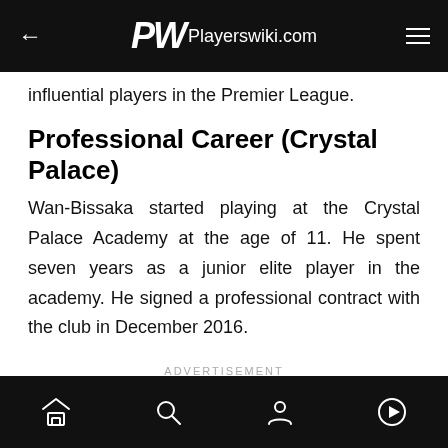PW Playerswiki.com
influential players in the Premier League.
Professional Career (Crystal Palace)
Wan-Bissaka started playing at the Crystal Palace Academy at the age of 11. He spent seven years as a junior elite player in the academy. He signed a professional contract with the club in December 2016.
ADVERTISEMENT
Home, Search, Profile, Play icons